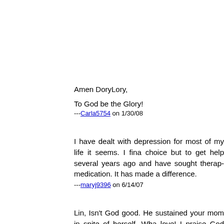Amen DoryLory,
To God be the Glory!
---Carla5754 on 1/30/08
I have dealt with depression for most of my life it seems. I finally had no choice but to get help several years ago and have sought therapy and medication. It has made a difference.
---maryj9396 on 6/14/07
Lin, Isn't God good. He sustained your mom in spite of herself. What amazing love! I praise God with you that you still have your mom.
---daphn8897 on 5/22/07
(2) "And the Lord said, 'Simon, Simon! Indeed Satan has asked for he may sift you as wheat. But I have prayed for you, that your faith...